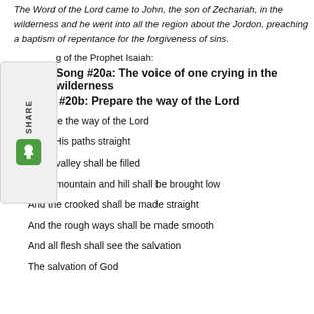The Word of the Lord came to John, the son of Zechariah, in the wilderness and he went into all the region about the Jordon, preaching a baptism of repentance for the forgiveness of sins.
...g of the Prophet Isaiah:
Song #20a: The voice of one crying in the wilderness
Song #20b: Prepare the way of the Lord
Prepare the way of the Lord
Make His paths straight
Every valley shall be filled
Every mountain and hill shall be brought low
And the crooked shall be made straight
And the rough ways shall be made smooth
And all flesh shall see the salvation
The salvation of God